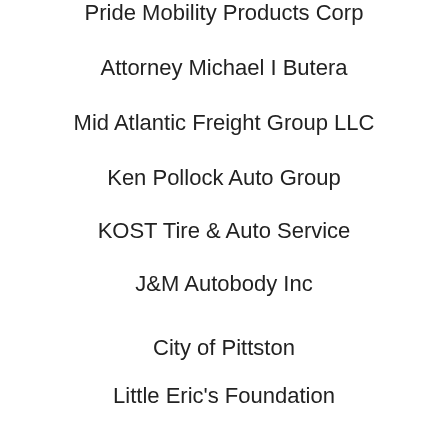Pride Mobility Products Corp
Attorney Michael I Butera
Mid Atlantic Freight Group LLC
Ken Pollock Auto Group
KOST Tire & Auto Service
J&M Autobody Inc
City of Pittston
Little Eric's Foundation
Geisinger
Colwell Pest Control
Susquehanna Brewing
Ball Corporation
Leo J Sperrazza - Allstate
PA State Senator John Yudichak